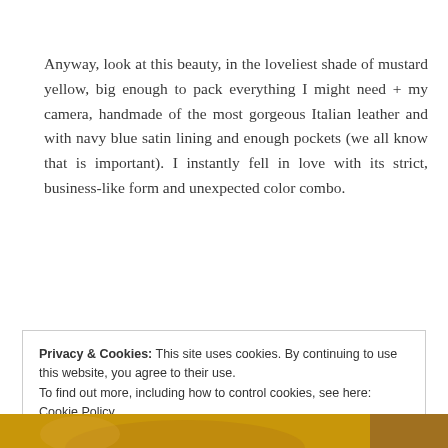Anyway, look at this beauty, in the loveliest shade of mustard yellow, big enough to pack everything I might need + my camera, handmade of the most gorgeous Italian leather and with navy blue satin lining and enough pockets (we all know that is important). I instantly fell in love with its strict, business-like form and unexpected color combo.
Privacy & Cookies: This site uses cookies. By continuing to use this website, you agree to their use. To find out more, including how to control cookies, see here: Cookie Policy
[Figure (photo): Bottom strip showing a partial photo with mustard yellow and brown tones, likely showing the bag mentioned in the text.]